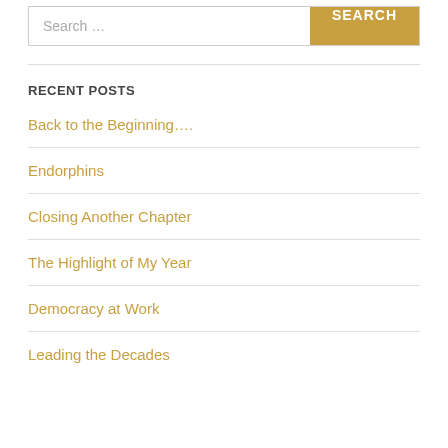[Figure (screenshot): Search bar with text input placeholder 'Search ...' and a gold 'SEARCH' button]
RECENT POSTS
Back to the Beginning….
Endorphins
Closing Another Chapter
The Highlight of My Year
Democracy at Work
Leading the Decades